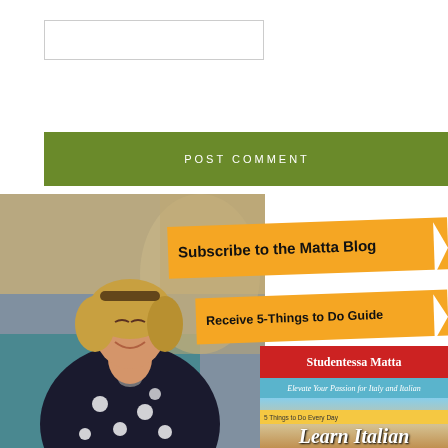[Figure (other): Empty textarea input box for posting a comment]
[Figure (other): Green 'POST COMMENT' button]
[Figure (photo): Woman with short blonde hair smiling in front of a fountain, wearing a black and white floral dress. Overlaid with orange banners reading 'Subscribe to the Matta Blog' and 'Receive 5-Things to Do Guide', and a book cover for 'Studentessa Matta - Elevate Your Passion for Italy and Italian' with 'Learn Italian' text at the bottom.]